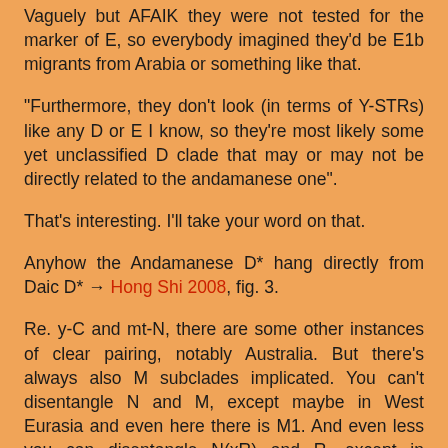Vaguely but AFAIK they were not tested for the marker of E, so everybody imagined they'd be E1b migrants from Arabia or something like that.
"Furthermore, they don't look (in terms of Y-STRs) like any D or E I know, so they're most likely some yet unclassified D clade that may or may not be directly related to the andamanese one".
That's interesting. I'll take your word on that.
Anyhow the Andamanese D* hang directly from Daic D* → Hong Shi 2008, fig. 3.
Re. y-C and mt-N, there are some other instances of clear pairing, notably Australia. But there's always also M subclades implicated. You can't disentangle N and M, except maybe in West Eurasia and even here there is M1. And even less you can disentangle N(xR) and R, except in Australia. It's a mess, although it can be understood as such "mess" where lineages exist...